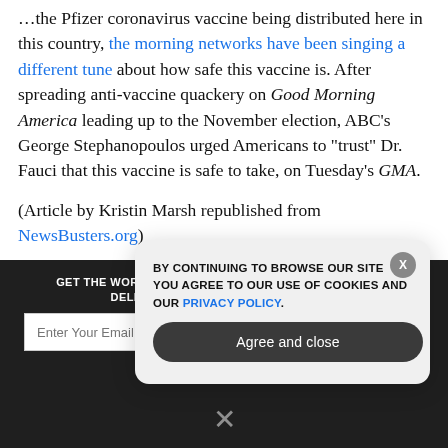...the Pfizer coronavirus vaccine being distributed here in this country, the morning networks have been singing a different tune about how safe this vaccine is. After spreading anti-vaccine quackery on Good Morning America leading up to the November election, ABC's George Stephanopoulos urged Americans to "trust" Dr. Fauci that this vaccine is safe to take, on Tuesday's GMA.
(Article by Kristin Marsh republished from NewsBusters.org)
During his interview with Stephanopoulos, Fauci stressed...
GET THE WORLD'S BEST NATURAL HEALTH NEWSLETTER DELIVERED STRAIGHT TO YOUR INBOX
BY CONTINUING TO BROWSE OUR SITE YOU AGREE TO OUR USE OF COOKIES AND OUR PRIVACY POLICY.
Agree and close